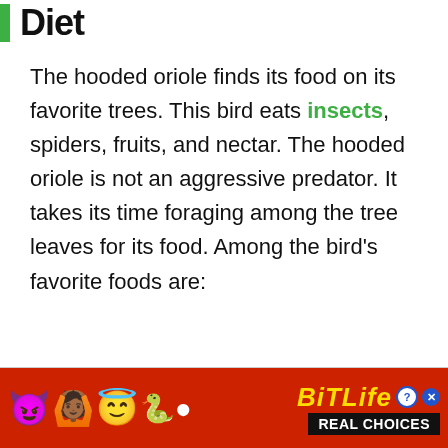Diet
The hooded oriole finds its food on its favorite trees. This bird eats insects, spiders, fruits, and nectar. The hooded oriole is not an aggressive predator. It takes its time foraging among the tree leaves for its food. Among the bird’s favorite foods are:
[Figure (other): Advertisement banner for BitLife game app with red background, emoji characters (devil, person with raised hands, angel emoji, snake/worm), BitLife logo in yellow italic text with question mark and close badges, and 'REAL CHOICES' text on black background]